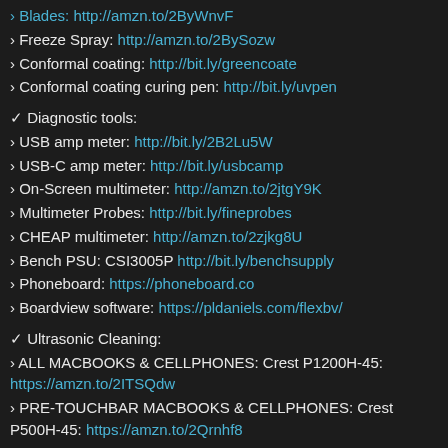› Blades: http://amzn.to/2ByWnvF
› Freeze Spray: http://amzn.to/2BySozw
› Conformal coating: http://bit.ly/greencoate
› Conformal coating curing pen: http://bit.ly/uvpen
✓ Diagnostic tools:
› USB amp meter: http://bit.ly/2B2Lu5W
› USB-C amp meter: http://bit.ly/usbcamp
› On-Screen multimeter: http://amzn.to/2jtgY9K
› Multimeter Probes: http://bit.ly/fineprobes
› CHEAP multimeter: http://amzn.to/2zjkg8U
› Bench PSU: CSI3005P http://bit.ly/benchsupply
› Phoneboard: https://phoneboard.co
› Boardview software: https://pldaniels.com/flexbv/
✓ Ultrasonic Cleaning:
› ALL MACBOOKS & CELLPHONES: Crest P1200H-45: https://amzn.to/2ITSQdw
› PRE-TOUCHBAR MACBOOKS & CELLPHONES: Crest P500H-45: https://amzn.to/2Qrnhf8
› CELLPHONES ONLY: Crest P230H-45: https://amzn.to/2QsckKG
› Branson EC cleaning fluid: http://amzn.to/2cKlBrp